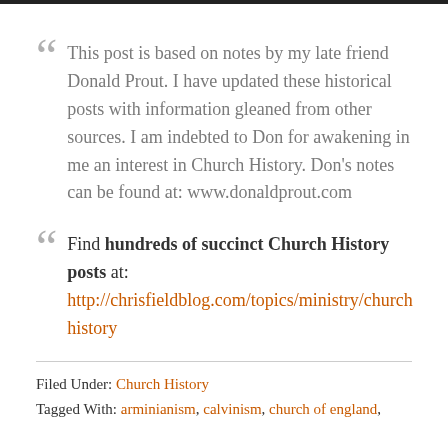This post is based on notes by my late friend Donald Prout. I have updated these historical posts with information gleaned from other sources. I am indebted to Don for awakening in me an interest in Church History. Don's notes can be found at: www.donaldprout.com
Find hundreds of succinct Church History posts at: http://chrisfieldblog.com/topics/ministry/church-history
Filed Under: Church History
Tagged With: arminianism, calvinism, church of england,